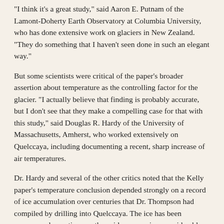“I think it’s a great study,” said Aaron E. Putnam of the Lamont-Doherty Earth Observatory at Columbia University, who has done extensive work on glaciers in New Zealand. “They do something that I haven’t seen done in such an elegant way.”
But some scientists were critical of the paper’s broader assertion about temperature as the controlling factor for the glacier. “I actually believe that finding is probably accurate, but I don’t see that they make a compelling case for that with this study,” said Douglas R. Hardy of the University of Massachusetts, Amherst, who worked extensively on Quelccaya, including documenting a recent, sharp increase of air temperatures.
Dr. Hardy and several of the other critics noted that the Kelly paper’s temperature conclusion depended strongly on a record of ice accumulation over centuries that Dr. Thompson had compiled by drilling into Quelccaya. The ice has been compressed over time, so the evidence requires considerable interpretation.
All of the scientists involved in the debate over tropical glaciers believe that global warming is a problem and that human emissions pose a long-term threat to the planet. But the unresolved controversy has served as fodder for skeptics of global warming,